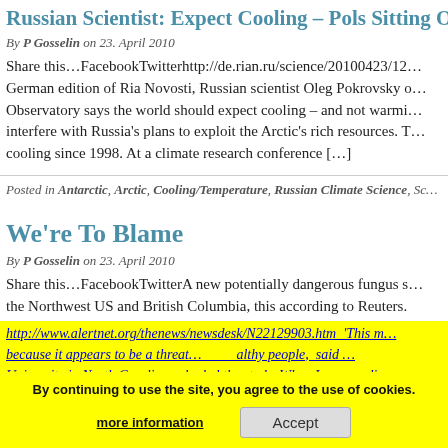Russian Scientist: Expect Cooling – Pols Sitting O…
By P Gosselin on 23. April 2010
Share this…FacebookTwitterhttp://de.rian.ru/science/20100423/12… German edition of Ria Novosti, Russian scientist Oleg Pokrovsky o… Observatory says the world should expect cooling – and not warmi… interfere with Russia's plans to exploit the Arctic's rich resources. T… cooling since 1998. At a climate research conference […]
Posted in Antarctic, Arctic, Cooling/Temperature, Russian Climate Science, Sc…
We're To Blame
By P Gosselin on 23. April 2010
Share this…FacebookTwitterA new potentially dangerous fungus s… the Northwest US and British Columbia, this according to Reuters.
http://www.alertnet.org/thenews/newsdesk/N22129903.htm 'This m… because it appears to be a threat… althy people, said … University in North Carolina, who led the study. When I was readi…
By continuing to use the site, you agree to the use of cookies. more information  Accept